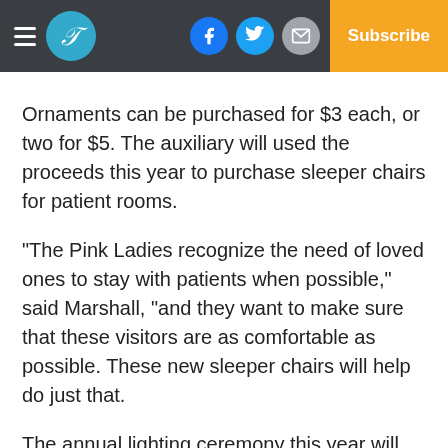Subscribe
Ornaments can be purchased for $3 each, or two for $5. The auxiliary will used the proceeds this year to purchase sleeper chairs for patient rooms.
“The Pink Ladies recognize the need of loved ones to stay with patients when possible,” said Marshall, “and they want to make sure that these visitors are as comfortable as possible. These new sleeper chairs will help do just that.
The annual lighting ceremony this year will feature the Bryan W. Whitfield Memorial Hospital Employee